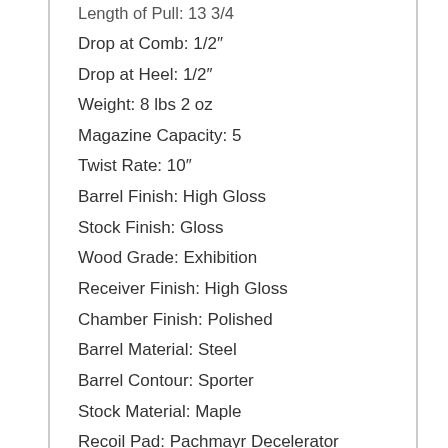Length of Pull: 13 3/4
Drop at Comb: 1/2″
Drop at Heel: 1/2″
Weight: 8 lbs 2 oz
Magazine Capacity: 5
Twist Rate: 10″
Barrel Finish: High Gloss
Stock Finish: Gloss
Wood Grade: Exhibition
Receiver Finish: High Gloss
Chamber Finish: Polished
Barrel Material: Steel
Barrel Contour: Sporter
Stock Material: Maple
Recoil Pad: Pachmayr Decelerator
Pistol Grip Cap: Gloss Blued Steel
Checkering: Cut 20 LPI
Sling Swivel Studs: Steel Integral
Receiver Material: Steel
Trigger Finish: Brushed Polish